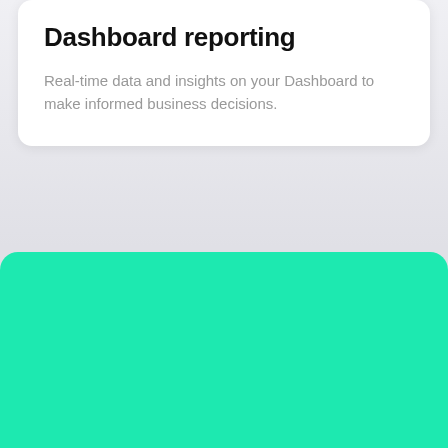Dashboard reporting
Real-time data and insights on your Dashboard to make informed business decisions.
[Figure (illustration): A solid turquoise/green rounded rectangle card at the bottom of the page, serving as a decorative UI element or screenshot area.]